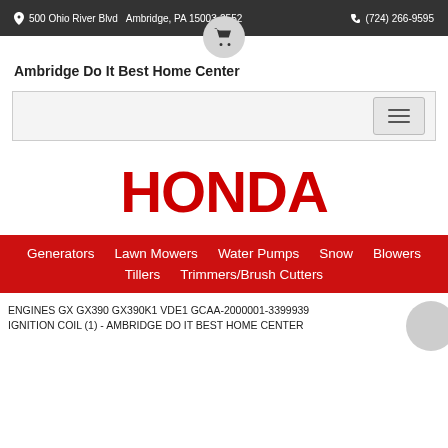500 Ohio River Blvd   Ambridge, PA 15003-2552   (724) 266-9595
Ambridge Do It Best Home Center
[Figure (screenshot): Navigation bar with hamburger menu button]
[Figure (logo): HONDA logo in bold red text]
Generators
Lawn Mowers
Water Pumps
Snow Blowers
Tillers
Trimmers/Brush Cutters
ENGINES GX GX390 GX390K1 VDE1 GCAA-2000001-3399939 IGNITION COIL (1) - AMBRIDGE DO IT BEST HOME CENTER